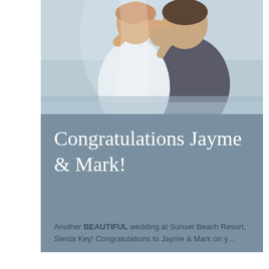[Figure (photo): Wedding photo of a couple embracing. The bride in white veil and the groom in a grey suit, outdoors near a beach with a soft blue sky background.]
Congratulations Jayme & Mark!
Another BEAUTIFUL wedding at Sunset Beach Resort, Siesta Key! Congratulations to Jayme & Mark on y...
© 2021 by Galloway Marketing Services
Follow us: